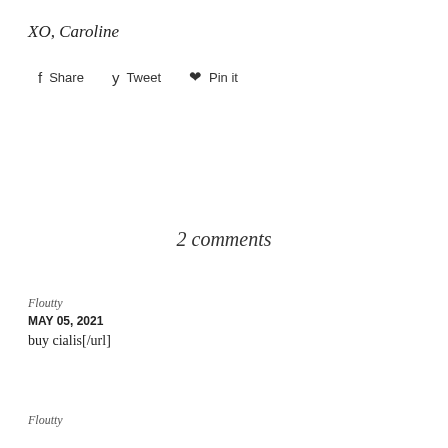XO, Caroline
Share  Tweet  Pin it
2 comments
Floutty
MAY 05, 2021
buy cialis[/url]
Floutty